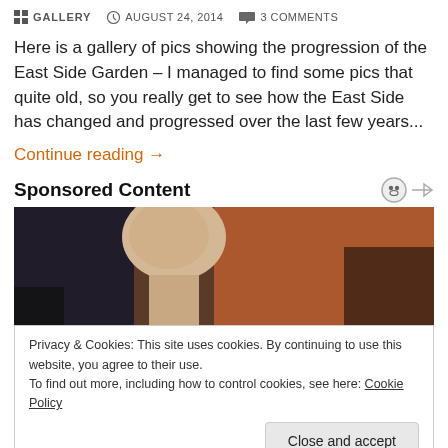GALLERY  AUGUST 24, 2014  3 COMMENTS
Here is a gallery of pics showing the progression of the East Side Garden – I managed to find some pics that quite old, so you really get to see how the East Side has changed and progressed over the last few years...
Continue reading →
Sponsored Content
[Figure (photo): Photo of a bald elderly man from behind, with orange/red curtains and dark background]
Privacy & Cookies: This site uses cookies. By continuing to use this website, you agree to their use.
To find out more, including how to control cookies, see here: Cookie Policy
[Close and accept]